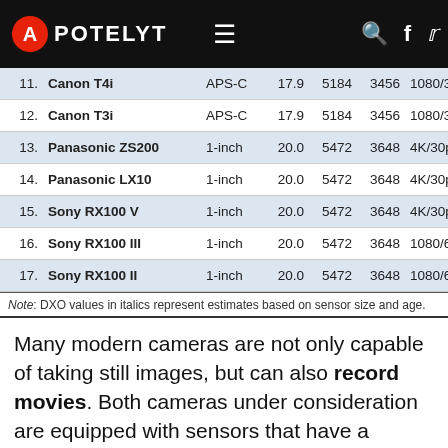APOTELYT
| # | Camera | Sensor | MP | W | H | Video | DR | SNR |
| --- | --- | --- | --- | --- | --- | --- | --- | --- |
| 11. | Canon T4i | APS-C | 17.9 | 5184 | 3456 | 1080/30p | 21.7 | 11.2 |
| 12. | Canon T3i | APS-C | 17.9 | 5184 | 3456 | 1080/30p | 22.1 | 11.5 |
| 13. | Panasonic ZS200 | 1-inch | 20.0 | 5472 | 3648 | 4K/30p | 22.0 | 12.2 |
| 14. | Panasonic LX10 | 1-inch | 20.0 | 5472 | 3648 | 4K/30p | 21.9 | 12.0 |
| 15. | Sony RX100 V | 1-inch | 20.0 | 5472 | 3648 | 4K/30p | 22.8 | 12.4 |
| 16. | Sony RX100 III | 1-inch | 20.0 | 5472 | 3648 | 1080/60p | 22.4 | 12.3 |
| 17. | Sony RX100 II | 1-inch | 20.0 | 5472 | 3648 | 1080/60p | 22.5 | 12.4 |
Note: DXO values in italics represent estimates based on sensor size and age.
Many modern cameras are not only capable of taking still images, but can also record movies. Both cameras under consideration are equipped with sensors that have a sufficiently high read-out speed for moving images, but the ZS100 provides a better video resolution than the SL1. It can shoot movie footage at 4K/30p, while the Canon is